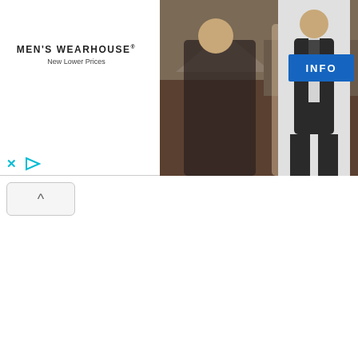[Figure (screenshot): Men's Wearhouse advertisement banner showing a couple in formal wear and a man in a dark suit, with INFO button and ad controls. Below the ad is a webpage interface element showing a collapse arrow button and vertical text reading 'sunrise, sunset, Sunrise' between dashed column lines.]